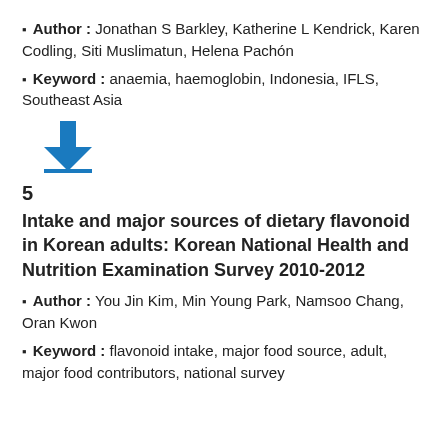Author : Jonathan S Barkley, Katherine L Kendrick, Karen Codling, Siti Muslimatun, Helena Pachón
Keyword : anaemia, haemoglobin, Indonesia, IFLS, Southeast Asia
[Figure (other): Blue download arrow icon with a horizontal blue underline bar]
5
Intake and major sources of dietary flavonoid in Korean adults: Korean National Health and Nutrition Examination Survey 2010-2012
Author : You Jin Kim, Min Young Park, Namsoo Chang, Oran Kwon
Keyword : flavonoid intake, major food source, adult, major food contributors, national survey